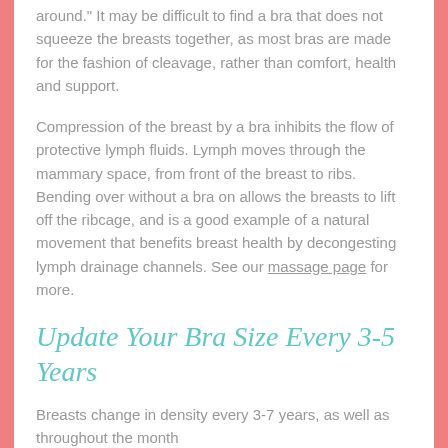around." It may be difficult to find a bra that does not squeeze the breasts together, as most bras are made for the fashion of cleavage, rather than comfort, health and support.
Compression of the breast by a bra inhibits the flow of protective lymph fluids. Lymph moves through the mammary space, from front of the breast to ribs. Bending over without a bra on allows the breasts to lift off the ribcage, and is a good example of a natural movement that benefits breast health by decongesting lymph drainage channels. See our massage page for more.
Update Your Bra Size Every 3-5 Years
Breasts change in density every 3-7 years, as well as throughout the month